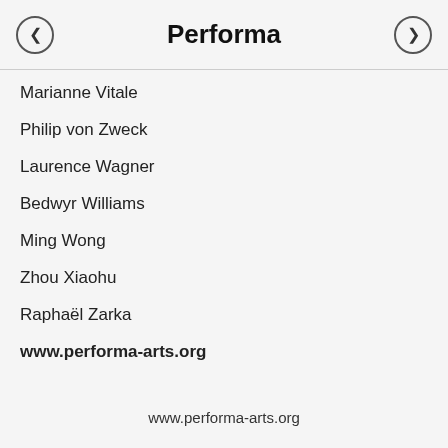Performa
Marianne Vitale
Philip von Zweck
Laurence Wagner
Bedwyr Williams
Ming Wong
Zhou Xiaohu
Raphaël Zarka
www.performa-arts.org
www.performa-arts.org